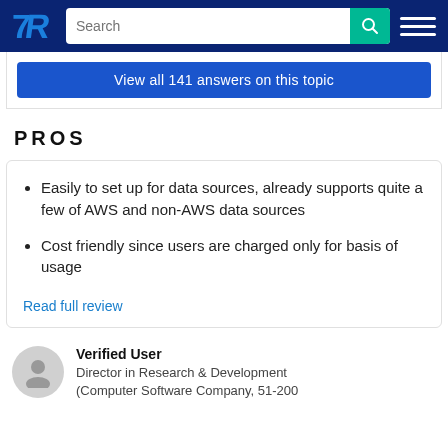TrustRadius — Search
View all 141 answers on this topic
PROS
Easily to set up for data sources, already supports quite a few of AWS and non-AWS data sources
Cost friendly since users are charged only for basis of usage
Read full review
Verified User
Director in Research & Development
(Computer Software Company, 51-200